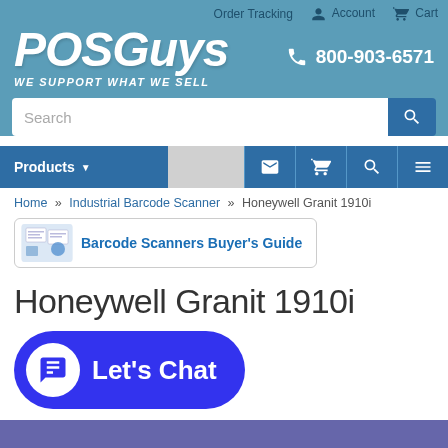Order Tracking  Account  Cart
[Figure (logo): POSGuys logo with tagline WE SUPPORT WHAT WE SELL and phone number 800-903-6571]
Search
Products
Home » Industrial Barcode Scanner » Honeywell Granit 1910i
Barcode Scanners Buyer's Guide
Honeywell Granit 1910i
Let's Chat